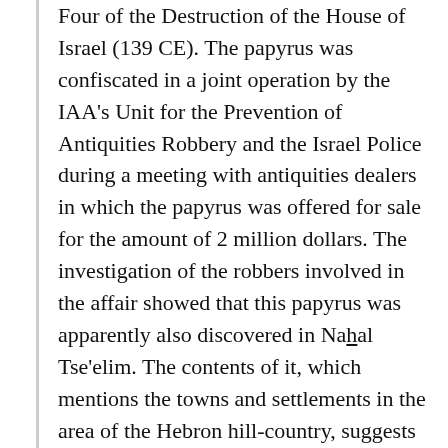Four of the Destruction of the House of Israel (139 CE). The papyrus was confiscated in a joint operation by the IAA's Unit for the Prevention of Antiquities Robbery and the Israel Police during a meeting with antiquities dealers in which the papyrus was offered for sale for the amount of 2 million dollars. The investigation of the robbers involved in the affair showed that this papyrus was apparently also discovered in Nahal Tse'elim. The contents of it, which mentions the towns and settlements in the area of the Hebron hill-country, suggests that the papyrus was part of an archive of documents belonging to Jews who fled to the desert from the Hebron area after the Bar Kokhba uprising. Now, the Israel Antiquities